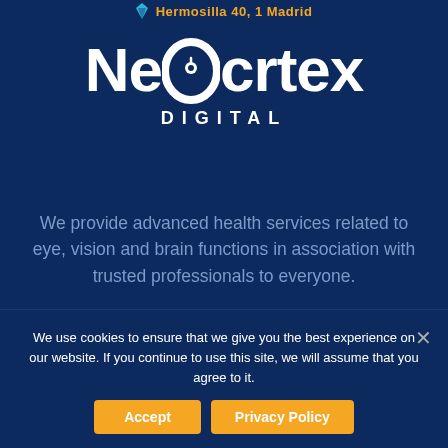Hermosilla 40, 1 Madrid
[Figure (logo): Neocortex Digital logo — white bold text with a brain/circle icon replacing the first 'o' in Neocortex, and 'DIGITAL' in spaced capitals below]
We provide advanced health services related to eye, vision and brain functions in association with trusted professionals to everyone.
We use cookies to ensure that we give you the best experience on our website. If you continue to use this site, we will assume that you agree to it.